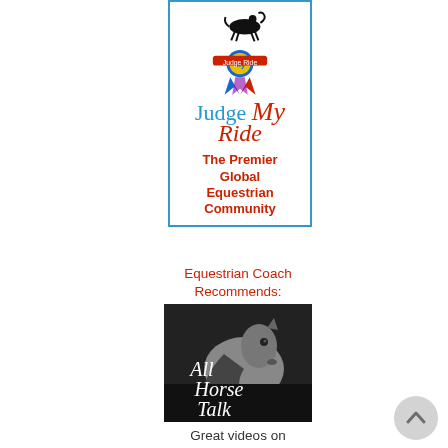[Figure (logo): Judge My Ride logo banner with blue border, horse and rider silhouette icon, ribbon award graphic, stylized 'Judge My Ride' text in blue and red cursive, and red bold text reading 'The Premier Global Equestrian Community']
Equestrian Coach Recommends:
[Figure (photo): Black and white photo of a white horse head with italic white text overlay reading 'All Horse Talk']
Great videos on horse care